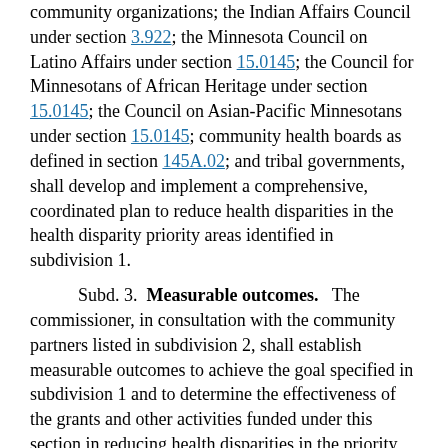community organizations; the Indian Affairs Council under section 3.922; the Minnesota Council on Latino Affairs under section 15.0145; the Council for Minnesotans of African Heritage under section 15.0145; the Council on Asian-Pacific Minnesotans under section 15.0145; community health boards as defined in section 145A.02; and tribal governments, shall develop and implement a comprehensive, coordinated plan to reduce health disparities in the health disparity priority areas identified in subdivision 1.
Subd. 3. Measurable outcomes. The commissioner, in consultation with the community partners listed in subdivision 2, shall establish measurable outcomes to achieve the goal specified in subdivision 1 and to determine the effectiveness of the grants and other activities funded under this section in reducing health disparities in the priority areas identified in subdivision 1. The development of measurable outcomes must be completed before any funds are distributed under this section.
Subd. 4. Statewide assessment. The commissioner shall enhance current data tools to ensure a statewide assessment of the risk behaviors associated with the health